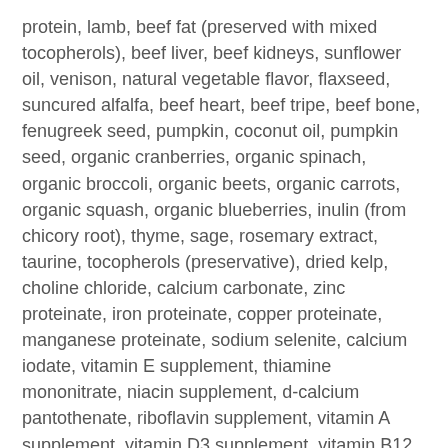protein, lamb, beef fat (preserved with mixed tocopherols), beef liver, beef kidneys, sunflower oil, venison, natural vegetable flavor, flaxseed, suncured alfalfa, beef heart, beef tripe, beef bone, fenugreek seed, pumpkin, coconut oil, pumpkin seed, organic cranberries, organic spinach, organic broccoli, organic beets, organic carrots, organic squash, organic blueberries, inulin (from chicory root), thyme, sage, rosemary extract, taurine, tocopherols (preservative), dried kelp, choline chloride, calcium carbonate, zinc proteinate, iron proteinate, copper proteinate, manganese proteinate, sodium selenite, calcium iodate, vitamin E supplement, thiamine mononitrate, niacin supplement, d-calcium pantothenate, riboflavin supplement, vitamin A supplement, vitamin D3 supplement, vitamin B12 supplement, pyridoxine hydrochloride, folic acid, salt, dried Pediococcus acidilactici fermentation product, dried Lactobacillus acidophilus
Red Meat Raw Blend Kibble
$24.99